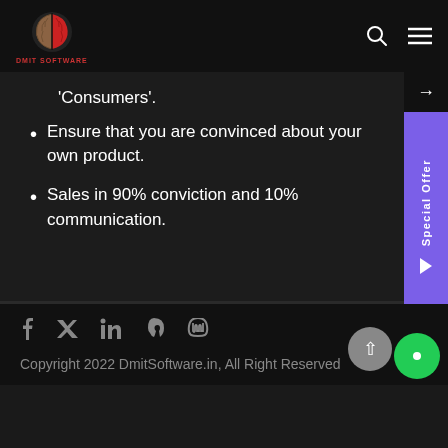[Figure (logo): DMIT Software brain logo with red and brown halves, text 'DMIT SOFTWARE' below]
'Consumers'.
Ensure that you are convinced about your own product.
Sales in 90% conviction and 10% communication.
[Figure (infographic): Side tab with arrow, purple 'Special Offer' vertical tab, and green phone icon]
Copyright 2022 DmitSoftware.in, All Right Reserved